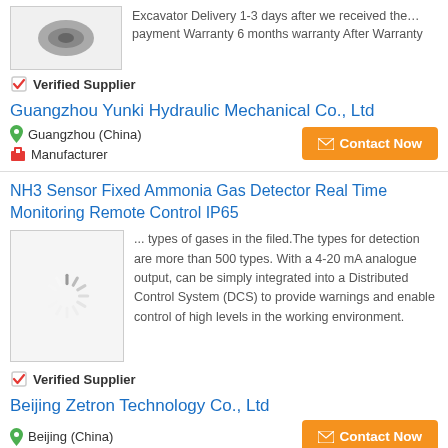[Figure (photo): Product image thumbnail (mechanical part, partially visible at top)]
Excavator Delivery 1-3 days after we received the… payment Warranty 6 months warranty After Warranty
✅ Verified Supplier
Guangzhou Yunki Hydraulic Mechanical Co., Ltd
📍 Guangzhou (China)
🏢 Manufacturer
✉ Contact Now
NH3 Sensor Fixed Ammonia Gas Detector Real Time Monitoring Remote Control IP65
[Figure (photo): Loading spinner image placeholder for product photo]
... types of gases in the filed.The types for detection are more than 500 types. With a 4-20 mA analogue output, can be simply integrated into a Distributed Control System (DCS) to provide warnings and enable control of high levels in the working environment.
✅ Verified Supplier
Beijing Zetron Technology Co., Ltd
📍 Beijing (China)
✉ Contact Now